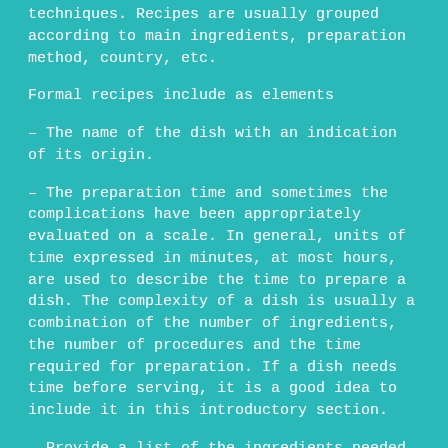techniques. Recipes are usually grouped according to main ingredients, preparation method, country, etc.
Formal recipes include as elements
– The name of the dish with an indication of its origin.
– The preparation time and sometimes the complications have been appropriately evaluated on a scale. In general, units of time expressed in minutes, at most hours, are used to describe the time to prepare a dish. The complexity of a dish is usually a combination of the number of ingredients, the number of procedures and the time required for preparation. If a dish needs time before serving, it is a good idea to include it in this introductory section.
– Provide a list of the ingredients needed, indicating their quantities or proportions. International, local or even culinary units of measure are usually used . From